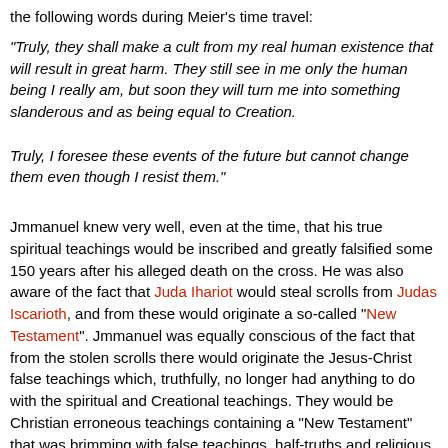the following words during Meier's time travel:
"Truly, they shall make a cult from my real human existence that will result in great harm. They still see in me only the human being I really am, but soon they will turn me into something slanderous and as being equal to Creation.

Truly, I foresee these events of the future but cannot change them even though I resist them."
Jmmanuel knew very well, even at the time, that his true spiritual teachings would be inscribed and greatly falsified some 150 years after his alleged death on the cross. He was also aware of the fact that Juda Ihariot would steal scrolls from Judas Iscarioth, and from these would originate a so-called "New Testament". Jmmanuel was equally conscious of the fact that from the stolen scrolls there would originate the Jesus-Christ false teachings which, truthfully, no longer had anything to do with the spiritual and Creational teachings. They would be Christian erroneous teachings containing a "New Testament" that was brimming with false teachings, half-truths and religious